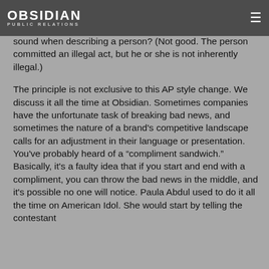OBSIDIAN PUBLIC RELATIONS
sound when describing a person? (Not good. The person committed an illegal act, but he or she is not inherently illegal.)
The principle is not exclusive to this AP style change. We discuss it all the time at Obsidian. Sometimes companies have the unfortunate task of breaking bad news, and sometimes the nature of a brand's competitive landscape calls for an adjustment in their language or presentation. You've probably heard of a “compliment sandwich.” Basically, it's a faulty idea that if you start and end with a compliment, you can throw the bad news in the middle, and it's possible no one will notice. Paula Abdul used to do it all the time on American Idol. She would start by telling the contestant